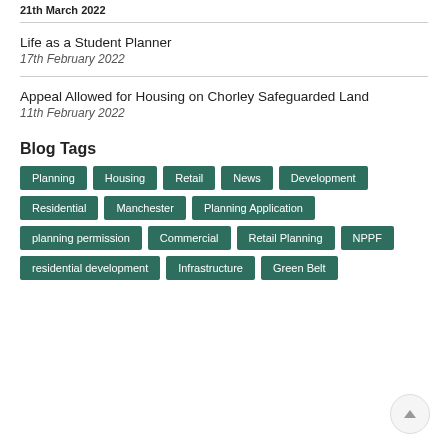21th March 2022
Life as a Student Planner
17th February 2022
Appeal Allowed for Housing on Chorley Safeguarded Land
11th February 2022
Blog Tags
Planning
Housing
Retail
News
Development
Residential
Manchester
Planning Application
planning permission
Commercial
Retail Planning
NPPF
residential development
Infrastructure
Green Belt